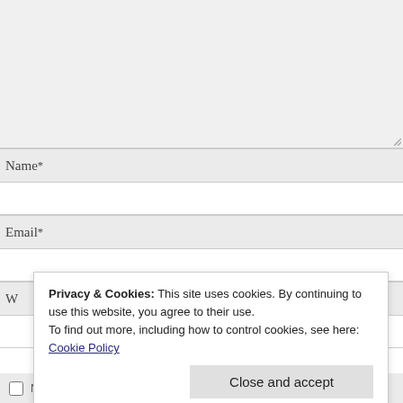[Figure (screenshot): Comment form textarea area (top portion, mostly empty/grey background with resize handle)]
Name *
Email *
W (Website label, partially visible)
Privacy & Cookies: This site uses cookies. By continuing to use this website, you agree to their use. To find out more, including how to control cookies, see here: Cookie Policy
Close and accept
Notify me of new comments via email.